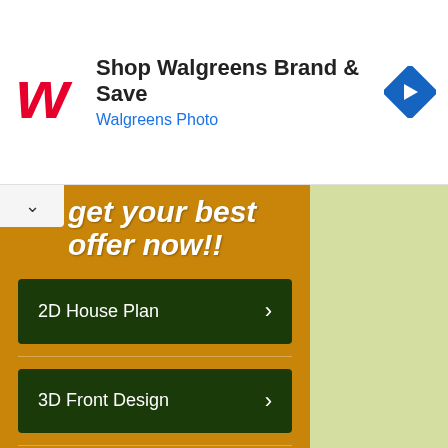[Figure (screenshot): Walgreens advertisement banner with logo, text 'Shop Walgreens Brand & Save' and 'Walgreens Photo', and a blue diamond navigation icon]
get your best offer now!!
2D House Plan >
3D Front Design >
House Colour Combinations >